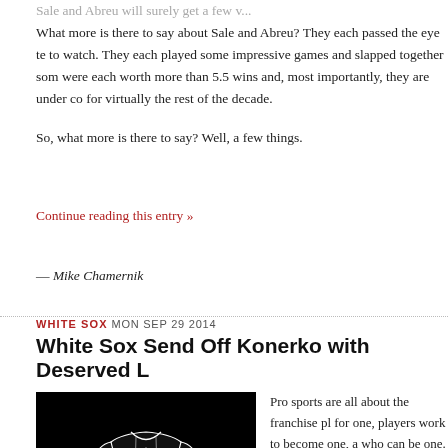Sale and Abreu will surely get a few votes...
What more is there to say about Sale and Abreu? They each passed the eye test to watch. They each played some impressive games and slapped together some were each worth more than 5.5 wins and, most importantly, they are under co for virtually the rest of the decade.
So, what more is there to say? Well, a few things.
Continue reading this entry »
— Mike Chamernik
WHITE SOX MON SEP 29 2014
White Sox Send Off Konerko with Deserved L...
[Figure (illustration): Black and white illustration of a baseball jersey or clothing item on a dark background]
Pro sports are all about the franchise pl... for one, players work to become one, a who can be one. Fans idolize and suppe...